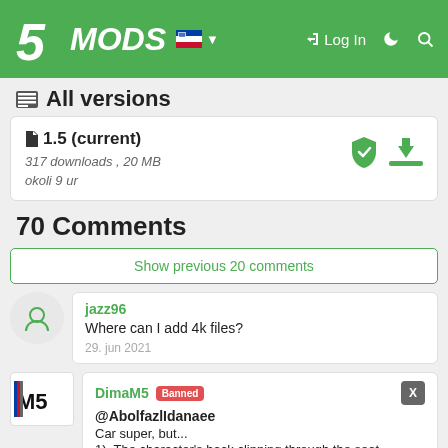[Figure (screenshot): 5MODS website header with logo, Slovenian flag, Log In button, moon icon, and search icon on green background]
All versions
| Version | Downloads | Size | Time | Actions |
| --- | --- | --- | --- | --- |
| 1.5 (current) | 317 downloads | 20 MB | okoli 9 ur | shield + download |
70 Comments
Show previous 20 comments
jazz96
Where can I add 4k files?
29. jun 2021
DimaM5 Banned
@AbolfazlIdanaee
Car super, but...
1). The character's back clipping through the seat.